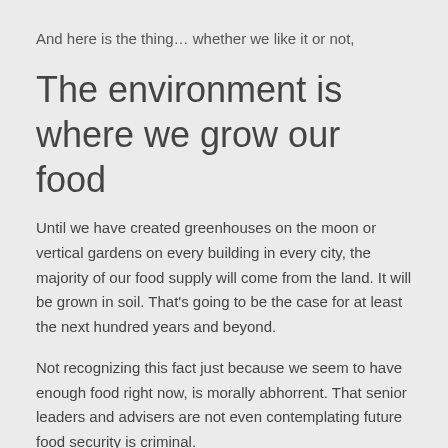And here is the thing… whether we like it or not,
The environment is where we grow our food
Until we have created greenhouses on the moon or vertical gardens on every building in every city, the majority of our food supply will come from the land. It will be grown in soil. That's going to be the case for at least the next hundred years and beyond.
Not recognizing this fact just because we seem to have enough food right now, is morally abhorrent. That senior leaders and advisers are not even contemplating future food security is criminal.